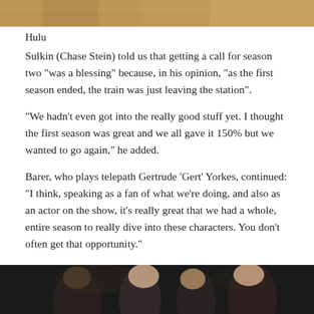[Figure (photo): Top strip of a photo, partially visible, warm tones]
Hulu
Sulkin (Chase Stein) told us that getting a call for season two "was a blessing" because, in his opinion, "as the first season ended, the train was just leaving the station".
"We hadn’t even got into the really good stuff yet. I thought the first season was great and we all gave it 150% but we wanted to go again," he added.
Barer, who plays telepath Gertrude 'Gert' Yorkes, continued: "I think, speaking as a fan of what we're doing, and also as an actor on the show, it's really great that we had a whole, entire season to really dive into these characters. You don't often get that opportunity."
[Figure (photo): Bottom portion of a photo showing group of people in dark setting]